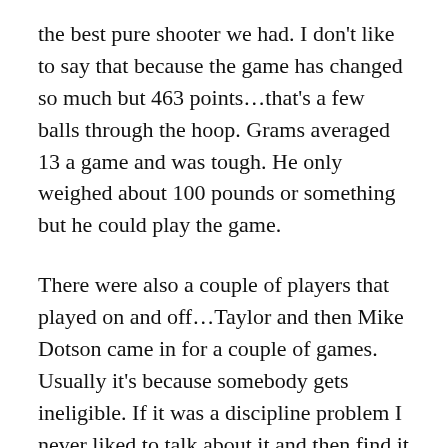the best pure shooter we had. I don't like to say that because the game has changed so much but 463 points…that's a few balls through the hoop. Grams averaged 13 a game and was tough. He only weighed about 100 pounds or something but he could play the game.
There were also a couple of players that played on and off…Taylor and then Mike Dotson came in for a couple of games. Usually it's because somebody gets ineligible. If it was a discipline problem I never liked to talk about it and then find it in the paper because I didn't think that is was something at that age that should get in the paper. I was a little bit afraid the sports writers back then and still am.